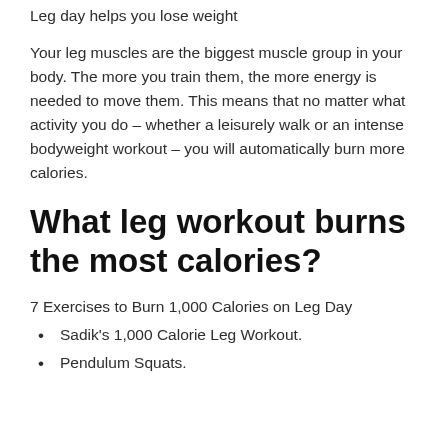Leg day helps you lose weight
Your leg muscles are the biggest muscle group in your body. The more you train them, the more energy is needed to move them. This means that no matter what activity you do – whether a leisurely walk or an intense bodyweight workout – you will automatically burn more calories.
What leg workout burns the most calories?
7 Exercises to Burn 1,000 Calories on Leg Day
Sadik's 1,000 Calorie Leg Workout.
Pendulum Squats.